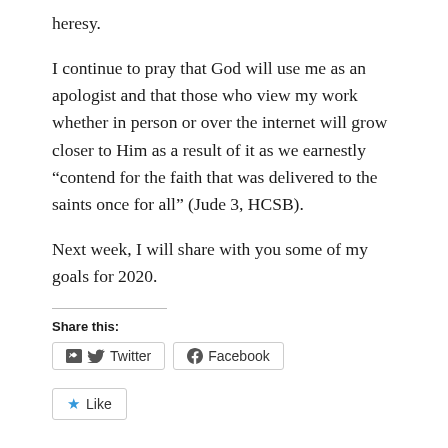heresy.
I continue to pray that God will use me as an apologist and that those who view my work whether in person or over the internet will grow closer to Him as a result of it as we earnestly “contend for the faith that was delivered to the saints once for all” (Jude 3, HCSB).
Next week, I will share with you some of my goals for 2020.
Share this:
Twitter  Facebook
Like